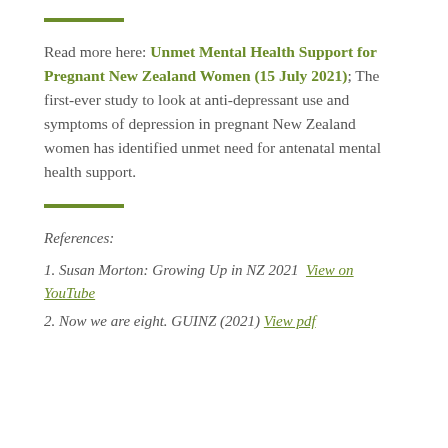Read more here: Unmet Mental Health Support for Pregnant New Zealand Women (15 July 2021); The first-ever study to look at anti-depressant use and symptoms of depression in pregnant New Zealand women has identified unmet need for antenatal mental health support.
References:
1. Susan Morton: Growing Up in NZ 2021  View on YouTube
2. Now we are eight. GUINZ (2021) View pdf